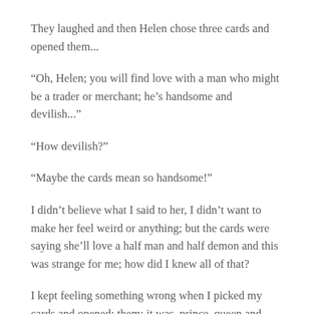They laughed and then Helen chose three cards and opened them...
“Oh, Helen; you will find love with a man who might be a trader or merchant; he’s handsome and devilish...”
“How devilish?”
“Maybe the cards mean so handsome!”
I didn’t believe what I said to her, I didn’t want to make her feel weird or anything; but the cards were saying she’ll love a half man and half demon and this was strange for me; how did I knew all of that?
I kept feeling something wrong when I picked my cards and opened; them; it was, prince, queen and joker, but in ancient